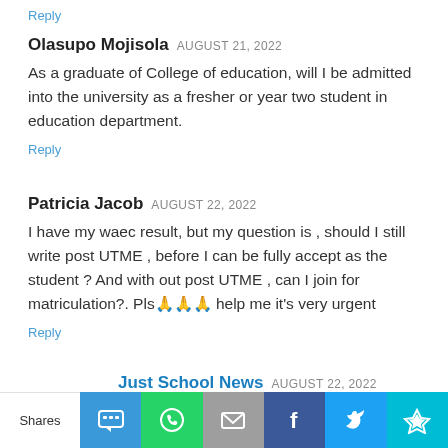Reply
Olasupo Mojisola AUGUST 21, 2022
As a graduate of College of education, will I be admitted into the university as a fresher or year two student in education department.
Reply
Patricia Jacob AUGUST 22, 2022
I have my waec result, but my question is , should I still write post UTME , before I can be fully accept as the student ? And with out post UTME , can I join for matriculation?. Pls🙏🙏🙏 help me it's very urgent
Reply
Just School News AUGUST 22, 2022